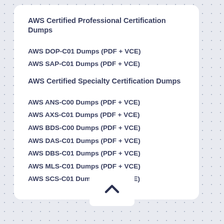AWS Certified Professional Certification Dumps
AWS DOP-C01 Dumps (PDF + VCE)
AWS SAP-C01 Dumps (PDF + VCE)
AWS Certified Specialty Certification Dumps
AWS ANS-C00 Dumps (PDF + VCE)
AWS AXS-C01 Dumps (PDF + VCE)
AWS BDS-C00 Dumps (PDF + VCE)
AWS DAS-C01 Dumps (PDF + VCE)
AWS DBS-C01 Dumps (PDF + VCE)
AWS MLS-C01 Dumps (PDF + VCE)
AWS SCS-C01 Dumps (PDF + VCE)
[Figure (other): Up/chevron navigation button]